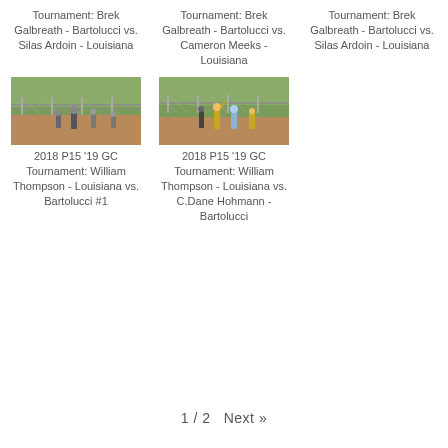Tournament: Brek Galbreath - Bartolucci vs. Silas Ardoin - Louisiana
Tournament: Brek Galbreath - Bartolucci vs. Cameron Meeks - Louisiana
Tournament: Brek Galbreath - Bartolucci vs. Silas Ardoin - Louisiana
[Figure (photo): Baseball players near chain-link fence on a dirt/grass field]
[Figure (photo): Baseball players near chain-link fence on a dirt/grass field, players in yellow and light blue uniforms]
2018 P15 '19 GC Tournament: William Thompson - Louisiana vs. Bartolucci #1
2018 P15 '19 GC Tournament: William Thompson - Louisiana vs. C.Dane Hohmann - Bartolucci
1 / 2  Next »